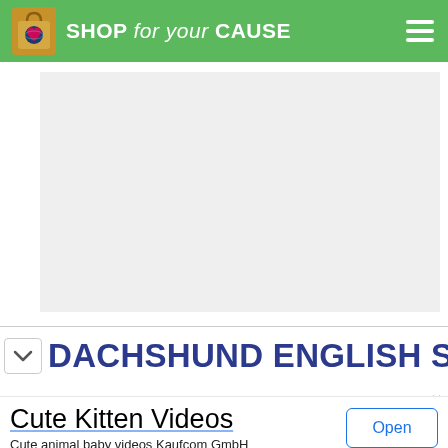SHOP for your CAUSE
[Figure (screenshot): Gray placeholder content area rectangle]
DACHSHUND ENGLISH SETTER
Cute Kitten Videos
Cute animal baby videos Kaufcom GmbH